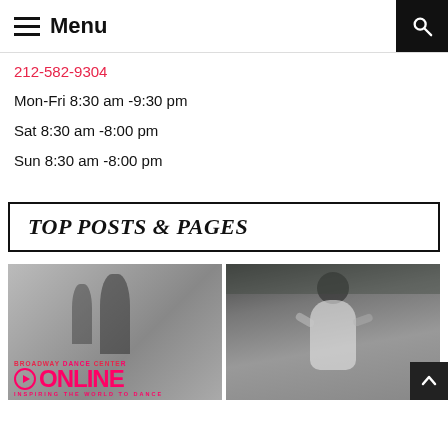Menu
212-582-9304
Mon-Fri 8:30 am -9:30 pm
Sat 8:30 am -8:00 pm
Sun 8:30 am -8:00 pm
TOP POSTS & PAGES
[Figure (photo): Broadway Dance Center Online promotional image with dancers and pink text overlay reading BROADWAY DANCE CENTER ONLINE INSPIRING THE WORLD TO DANCE]
[Figure (photo): Black and white photo of a man in white shirt with hands near his neck, looking up, outdoors with foliage in background]